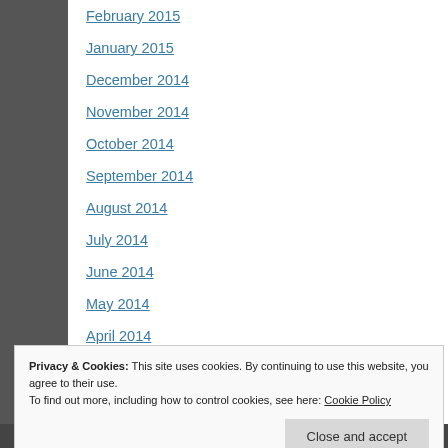February 2015
January 2015
December 2014
November 2014
October 2014
September 2014
August 2014
July 2014
June 2014
May 2014
April 2014
December 2012
Privacy & Cookies: This site uses cookies. By continuing to use this website, you agree to their use.
To find out more, including how to control cookies, see here: Cookie Policy
Close and accept
REPORT THIS AD